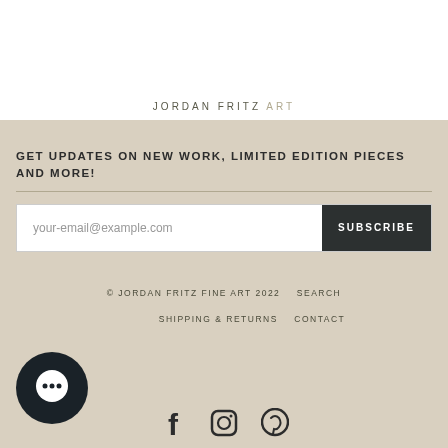JORDAN FRITZ ART
GET UPDATES ON NEW WORK, LIMITED EDITION PIECES AND MORE!
your-email@example.com  SUBSCRIBE
© JORDAN FRITZ FINE ART 2022   SEARCH
SHIPPING & RETURNS   CONTACT
[Figure (illustration): Chat bubble icon circle, dark navy background]
[Figure (illustration): Facebook, Instagram, Pinterest social media icons]